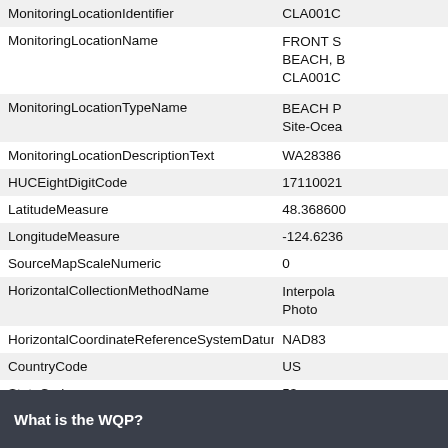| Field | Value |
| --- | --- |
| MonitoringLocationIdentifier | CLA001C |
| MonitoringLocationName | FRONT S
BEACH, B
CLA001C |
| MonitoringLocationTypeName | BEACH P
Site-Ocea |
| MonitoringLocationDescriptionText | WA28386 |
| HUCEightDigitCode | 17110021 |
| LatitudeMeasure | 48.368600 |
| LongitudeMeasure | -124.6236 |
| SourceMapScaleNumeric | 0 |
| HorizontalCollectionMethodName | Interpola
Photo |
| HorizontalCoordinateReferenceSystemDatumName | NAD83 |
| CountryCode | US |
| StateCode | 53 |
| CountyCode | 009 |
| ProviderName | STORET |
What is the WQP?